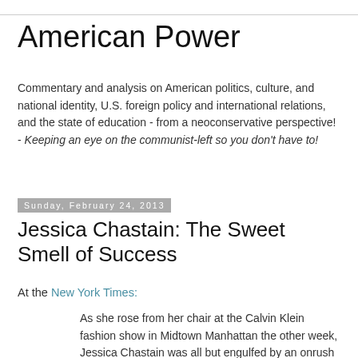American Power
Commentary and analysis on American politics, culture, and national identity, U.S. foreign policy and international relations, and the state of education - from a neoconservative perspective! - Keeping an eye on the communist-left so you don't have to!
Sunday, February 24, 2013
Jessica Chastain: The Sweet Smell of Success
At the New York Times:
As she rose from her chair at the Calvin Klein fashion show in Midtown Manhattan the other week, Jessica Chastain was all but engulfed by an onrush of journalists and celebrity groupies imploring the lanky, flame-haired actress for a